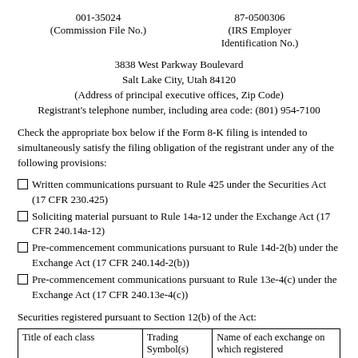001-35024
(Commission File No.)
87-0500306
(IRS Employer Identification No.)
3838 West Parkway Boulevard
Salt Lake City, Utah 84120
(Address of principal executive offices, Zip Code)
Registrant's telephone number, including area code: (801) 954-7100
Check the appropriate box below if the Form 8-K filing is intended to simultaneously satisfy the filing obligation of the registrant under any of the following provisions:
Written communications pursuant to Rule 425 under the Securities Act (17 CFR 230.425)
Soliciting material pursuant to Rule 14a-12 under the Exchange Act (17 CFR 240.14a-12)
Pre-commencement communications pursuant to Rule 14d-2(b) under the Exchange Act (17 CFR 240.14d-2(b))
Pre-commencement communications pursuant to Rule 13e-4(c) under the Exchange Act (17 CFR 240.13e-4(c))
Securities registered pursuant to Section 12(b) of the Act:
| Title of each class | Trading Symbol(s) | Name of each exchange on which registered |
| --- | --- | --- |
| Common Stock, $0.001 per value per share | USNA | New York Stock Exchange |